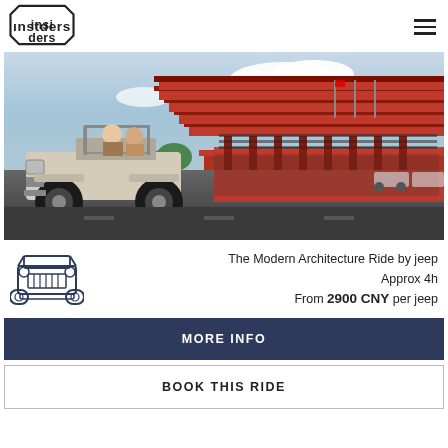[Figure (logo): INSIDERS brand logo in hexagonal badge style with stylized text]
[Figure (photo): Open-top vintage jeep with passengers driving in front of a large red modern architectural building with stacked cantilevered roofs]
The Modern Architecture Ride by jeep
Approx 4h
From 2900 CNY per jeep
[Figure (illustration): Front-view line drawing icon of a jeep]
MORE INFO
BOOK THIS RIDE